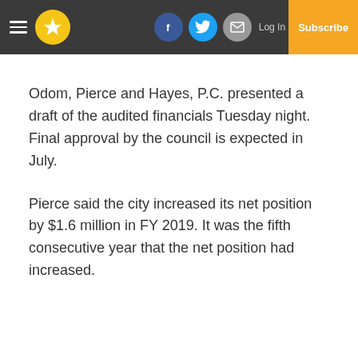Navigation bar with hamburger menu, logo, social icons (Facebook, Twitter, Email), Log In, and Subscribe button
Odom, Pierce and Hayes, P.C. presented a draft of the audited financials Tuesday night. Final approval by the council is expected in July.
Pierce said the city increased its net position by $1.6 million in FY 2019. It was the fifth consecutive year that the net position had increased.